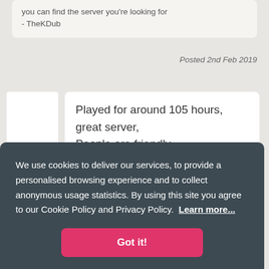you can find the server you're looking for
- TheKDub
Posted 2nd Feb 2019
Played for around 105 hours,
great server,
People are friendly,
staff is helpful
wish there were more people in the
We use cookies to deliver our services, to provide a personalised browsing experience and to collect anonymous usage statistics. By using this site you agree to our Cookie Policy and Privacy Policy.  Learn more...
Got it!